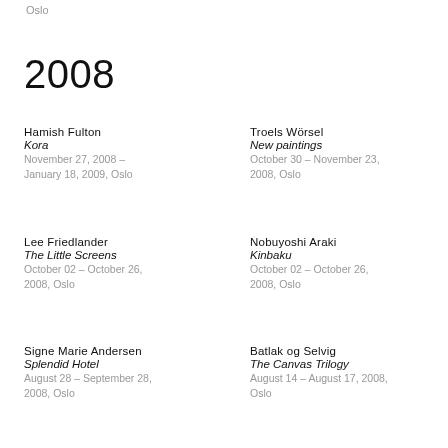Oslo
2008
Hamish Fulton
Kora
November 27, 2008 – January 18, 2009, Oslo
Troels Wörsel
New paintings
October 30 – November 23, 2008, Oslo
Lee Friedlander
The Little Screens
October 02 – October 26, 2008, Oslo
Nobuyoshi Araki
Kinbaku
October 02 – October 26, 2008, Oslo
Signe Marie Andersen
Splendid Hotel
August 28 – September 28, 2008, Oslo
Batlak og Selvig
The Canvas Trilogy
August 14 – August 17, 2008, Oslo